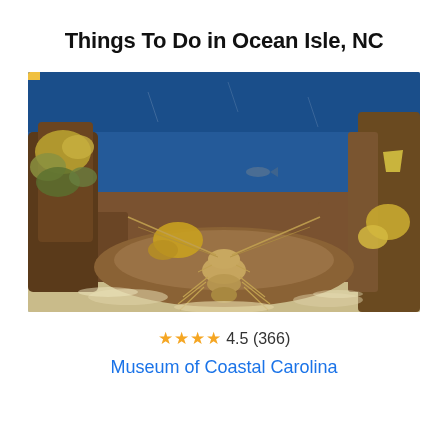Things To Do in Ocean Isle, NC
[Figure (photo): Underwater aquarium scene showing a spiny lobster on sandy floor surrounded by colorful coral and rocks with blue water background]
★★★★ 4.5 (366)
Museum of Coastal Carolina